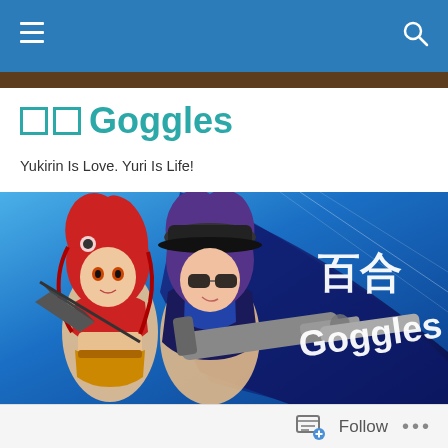Navigation bar with hamburger menu and search icon
百合 Goggles
Yukirin Is Love. Yuri Is Life!
[Figure (illustration): Anime banner illustration showing two female characters with weapons (one red-haired, one purple-haired with a large gun) against a blue background, with Japanese text '百合' and 'Goggles' overlaid in white]
Fic–The Moon's Grandness 1/? [Nogizaka 46]
Follow  •••